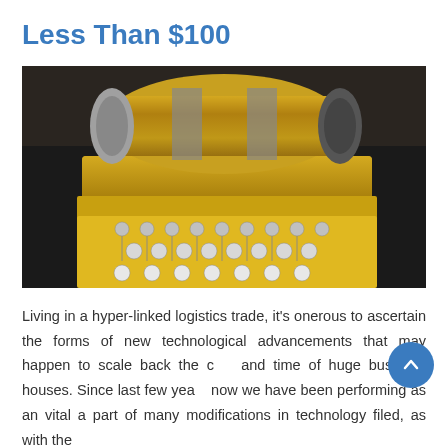Less Than $100
[Figure (photo): Vintage brass Enigma-like cipher machine with multiple rows of keyboard keys on a yellow base, viewed from above at slight angle, dark background]
Living in a hyper-linked logistics trade, it’s onerous to ascertain the forms of new technological advancements that may happen to scale back the cost and time of huge business houses. Since last few years now we have been performing as an vital a part of many modifications in technology filed, as with the